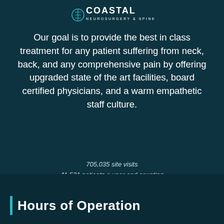[Figure (logo): Coastal Neurosurgery & Spine logo in white on dark teal background]
Our goal is to provide the best in class treatment for any patient suffering from neck, back, and any comprehensive pain by offering upgraded state of the art facilities, board certified physicians, and a warm empathetic staff culture.
705,035 site visits
41,521 patients a year and counting
245,868 cups of coffee
Hours of Operation